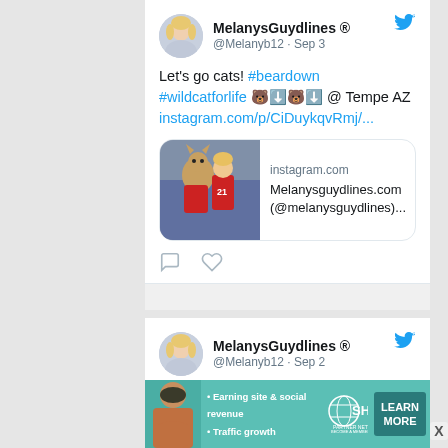[Figure (screenshot): Twitter/X screenshot showing two tweets from MelanysGuydlines (@Melanyb12). First tweet dated Sep 3: 'Let's go cats! #beardown #wildcatforlife 🐻⬇️🐻⬇️ @ Tempe AZ instagram.com/p/CiDuykqvRmj/...' with an Instagram link preview card showing a photo with a mascot. Second tweet dated Sep 2: 'Just posted a photo @ Belmont, California instagram.com/p/CiAk_z-vSSk/' (partially visible). Bottom ad banner for SHE Partner Network.]